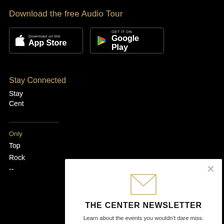Download the free Audio Tour
[Figure (other): App Store and Google Play download buttons on black background]
Stay Connected
Stay
Cent
Only
Top
Rock
--
[Figure (other): Newsletter signup modal popup with email input, radio button for NYC residency, and Subscribe Now button]
THE CENTER NEWSLETTER
Learn about the events you wouldn't dare miss.
Enter your email
Do you live or work in New York City?
Yes
SUBSCRIBE NOW